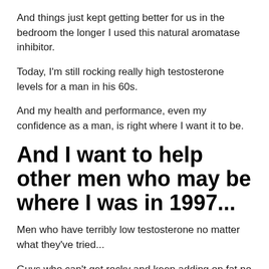And things just kept getting better for us in the bedroom the longer I used this natural aromatase inhibitor.
Today, I'm still rocking really high testosterone levels for a man in his 60s.
And my health and performance, even my confidence as a man, is right where I want it to be.
And I want to help other men who may be where I was in 1997...
Men who have terribly low testosterone no matter what they've tried...
Guys who can't get rocky and keep adding on fat no matter what they eat or how much they work out...
I want you to try this — and I don't want you to have to pay for it.